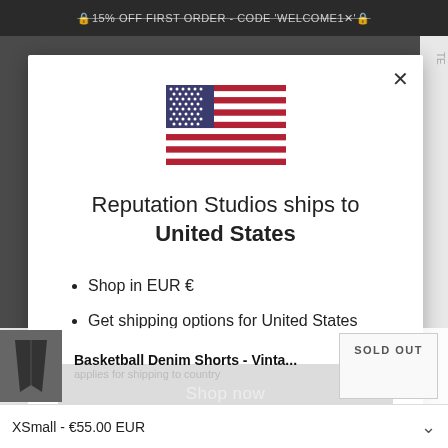🔒15% OFF FIRST ORDER - CODE 'WELCOME1✕'🔒
[Figure (illustration): US flag SVG illustration centered at top of modal]
Reputation Studios ships to United States
Shop in EUR €
Get shipping options for United States
Shop now
Basketball Denim Shorts - Vinta...
SOLD OUT
XSmall - €55.00 EUR